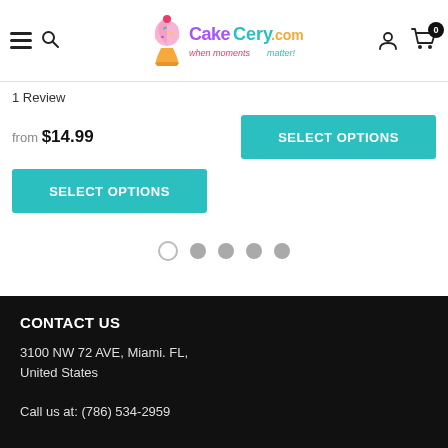CakeCery.com - when moments matter!
1 Review
from $14.99
SELECT OPTIONS
SELECT OPTIONS
CONTACT US
3100 NW 72 AVE, Miami. FL, United States
Call us at: (786) 534-2959